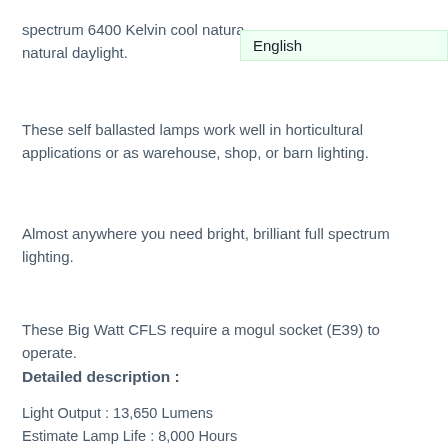spectrum 6400 Kelvin cool natural daylight.
These self ballasted lamps work well in horticultural applications or as warehouse, shop, or barn lighting.
Almost anywhere you need bright, brilliant full spectrum lighting.
These Big Watt CFLS require a mogul socket (E39) to operate.
Detailed description :
Light Output : 13,650 Lumens
Estimate Lamp Life : 8,000 Hours
Power Consumption : 200 Watts